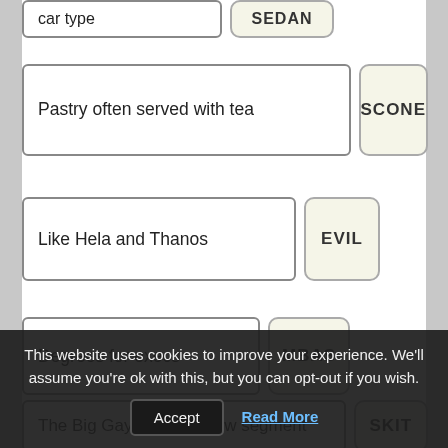| Clue | Answer |
| --- | --- |
| car type | SEDAN |
| Pastry often served with tea | SCONE |
| Like Hela and Thanos | EVIL |
| Degrees for execs | MBAS |
| The Big Gay Sketch Show segment | SKIT |
This website uses cookies to improve your experience. We'll assume you're ok with this, but you can opt-out if you wish.
Accept
Read More